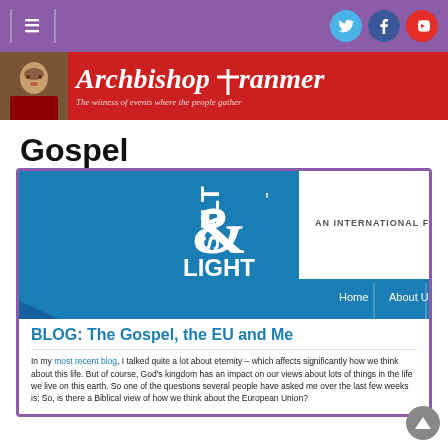Archbishop Cranmer — The witness of events where the people gather
Gospel
[Figure (screenshot): Salt and Light website screenshot showing a teal logo with 'SALT & LIGHT' text, navigation bar with Home, About Us, What we, and text 'AN INTERNATIONAL FAMILY OF']
BLOG: The Gospel, the EU and Me
In my most recent blog, I talked quite a lot about eternity – which affects significantly how we think about this life. But of course, God's kingdom has an impact on our views about lots of things in the life we live on this earth. So one of the questions several people have asked me over the last few weeks is: So, is there a Biblical view of how we think about the European Union?